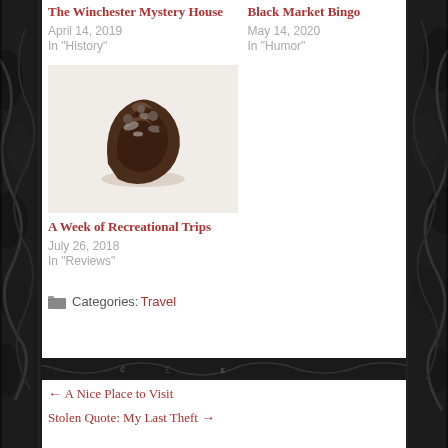The Winchester Mystery House
April 14, 2019
In "History"
Black Market Bingo
May 14, 2020
In "Humor"
[Figure (photo): Photo of a dark chocolate-colored rocky food item on a light background]
A Week of Recreational Trips
July 26, 2018
In "Reviews"
Categories: Travel
← A Nice Place to Visit
Stolen Quote: My Last Theft →